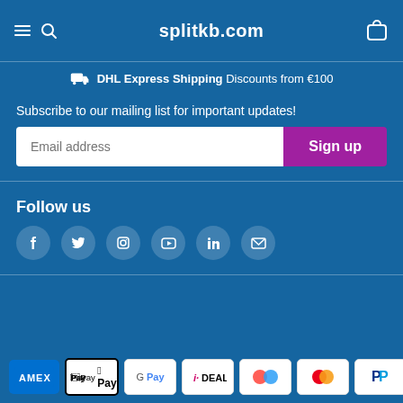splitkb.com
DHL Express Shipping Discounts from €100
Subscribe to our mailing list for important updates!
Follow us
[Figure (infographic): Payment method icons: AMEX, Apple Pay, Google Pay, iDEAL, Klarna (multicolor circles), Mastercard, PayPal]